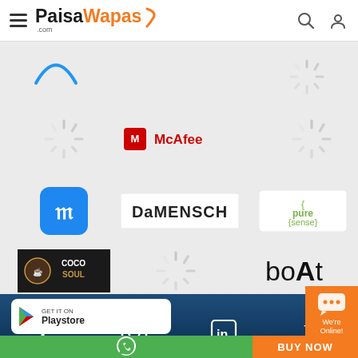PaisaWapas.com
[Figure (logo): PaisaWapas.com logo with hamburger menu, search and user icons]
[Figure (logo): Loading spinner placeholder]
[Figure (logo): McAfee logo]
[Figure (logo): Loading spinner placeholder]
[Figure (logo): Meesho app logo (blue icon with shopping cart)]
[Figure (logo): DaMENSCH logo]
[Figure (logo): pure{sense} logo]
[Figure (logo): Coco Soul logo]
[Figure (logo): Loading spinner placeholder]
[Figure (logo): boAt logo]
Connect with us
[Figure (infographic): Social media icons: Facebook, Instagram, LinkedIn, Twitter]
[Figure (infographic): GET IT ON Playstore button]
[Figure (infographic): WhatsApp icon on green bar | BUY NOW on orange bar | Chat We're Online! bubble]